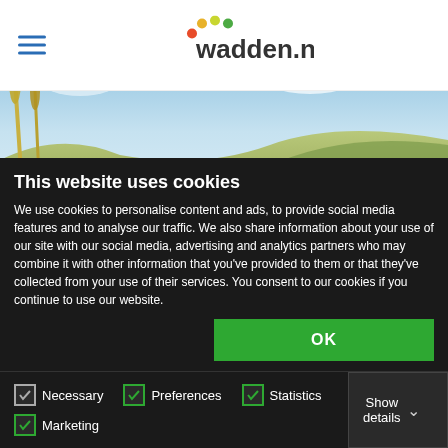[Figure (logo): wadden.nl logo with colorful dots above the text]
[Figure (photo): Coastal dune landscape with grass and blue sky with clouds - header image for wadden.nl holiday website]
Holidays on the Wadden Islands
This website uses cookies
We use cookies to personalise content and ads, to provide social media features and to analyse our traffic. We also share information about your use of our site with our social media, advertising and analytics partners who may combine it with other information that you've provided to them or that they've collected from your use of their services. You consent to our cookies if you continue to use our website.
Necessary
Preferences
Statistics
Marketing